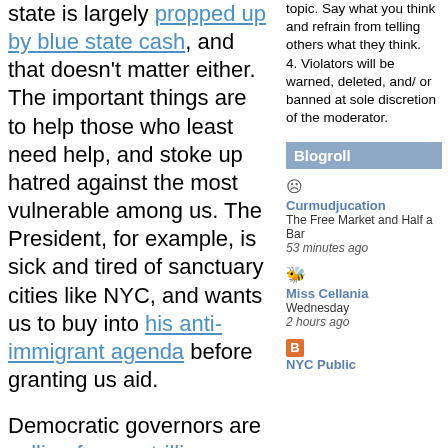state is largely propped up by blue state cash, and that doesn't matter either. The important things are to help those who least need help, and stoke up hatred against the most vulnerable among us. The President, for example, is sick and tired of sanctuary cities like NYC, and wants us to buy into his anti-immigrant agenda before granting us aid.

Democratic governors are calling for one trillion dollars of "direct and flexible relief." Yet the GOP, which voted a 1.5 trillion tax break for those who least needed it, says we ought not to bail out blue states. This is ironic, since blue states regularly support red states as a matter of course. For McConnell and Trump, though,
topic. Say what you think and refrain from telling others what they think. 4. Violators will be warned, deleted, and/ or banned at sole discretion of the moderator.
Blogroll
Curmudjucation
The Free Market and Half a Bar
53 minutes ago

Miss Cellania
Wednesday
2 hours ago

NYC Public